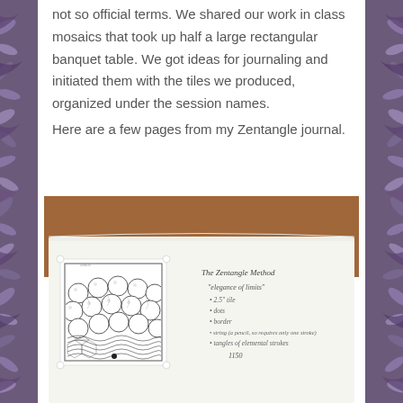not so official terms. We shared our work in class mosaics that took up half a large rectangular banquet table. We got ideas for journaling and initiated them with the tiles we produced, organized under the session names.

Here are a few pages from my Zentangle journal.
[Figure (photo): A photograph of an open journal/notebook on a wooden table. On the left page is a Zentangle tile (square art piece with intricate black and white patterns including spheres and geometric designs). On the right page are handwritten notes reading 'The Zentangle Method', 'elegance of limits', '2.5 tile', 'dots', 'border', 'string (a pencil, so requires only one stroke)', 'tangles of elemental strokes', '1150'.]